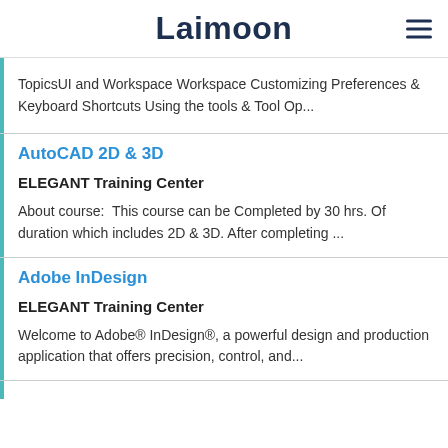Laimoon
TopicsUI and Workspace Workspace Customizing Preferences & Keyboard Shortcuts Using the tools & Tool Op...
AutoCAD 2D & 3D
ELEGANT Training Center
About course:  This course can be Completed by 30 hrs. Of duration which includes 2D & 3D. After completing ...
Adobe InDesign
ELEGANT Training Center
Welcome to Adobe® InDesign®, a powerful design and production application that offers precision, control, and...